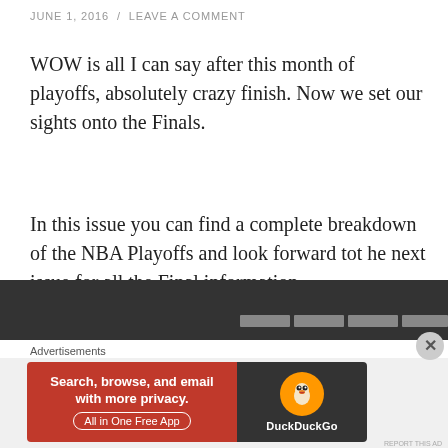JUNE 1, 2016  /  LEAVE A COMMENT
WOW is all I can say after this month of playoffs, absolutely crazy finish. Now we set our sights onto the Finals.
In this issue you can find a complete breakdown of the NBA Playoffs and look forward tot he next issue for all the Final information.
Check it out below:
[Figure (screenshot): Dark header bar of embedded content, partially visible at bottom of page]
Advertisements
[Figure (screenshot): DuckDuckGo advertisement banner: 'Search, browse, and email with more privacy. All in One Free App' with DuckDuckGo logo on dark background]